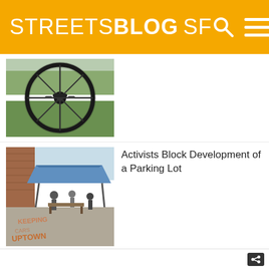STREETSBLOG SF
[Figure (photo): Close-up of bicycle wheel and grass]
[Figure (photo): Activists at a parking lot protest with chalk writing 'KEEP CARS OUT OF UPTOWN' on pavement and a tent]
Activists Block Development of a Parking Lot
[Figure (logo): StreetsBlog Events calendar logo with orange background]
This Week: 16th Street, HOV Lanes, Coffee Club